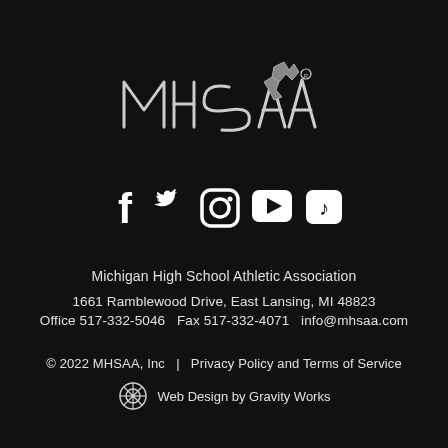[Figure (logo): MHSAA logo with stylized text and Michigan state outline graphic]
[Figure (infographic): Row of social media icons: Facebook, Twitter, Instagram, YouTube, TikTok]
Michigan High School Athletic Association
1661 Ramblewood Drive, East Lansing, MI 48823
Office 517-332-5046   Fax 517-332-4071   info@mhsaa.com
© 2022 MHSAA, Inc   |   Privacy Policy and Terms of Service
Web Design by Gravity Works